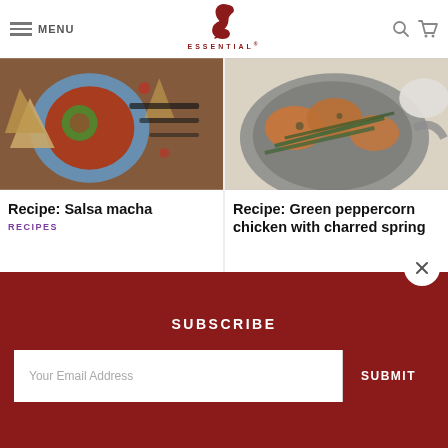MENU — Essential (logo) — search, cart icons
[Figure (photo): Top-down view of salsa macha with tortilla chips and avocado on a blue plate with dried chilies]
Recipe: Salsa macha
RECIPES
[Figure (photo): Green peppercorn chicken with charred spring onions in a grey skillet pan]
Recipe: Green peppercorn chicken with charred spring
SUBSCRIBE
Your Email Address
SUBMIT